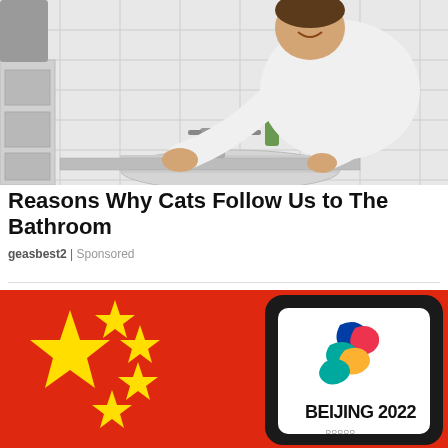[Figure (photo): A man in a white t-shirt leaning over a white bathroom sink, smiling, with white subway tile wall behind him. A grey towel is visible on the left.]
Reasons Why Cats Follow Us to The Bathroom
geasbest2 | Sponsored
[Figure (photo): A smartphone displaying the Beijing 2022 Winter Olympics logo, held against a background of the Chinese flag (red with yellow stars).]